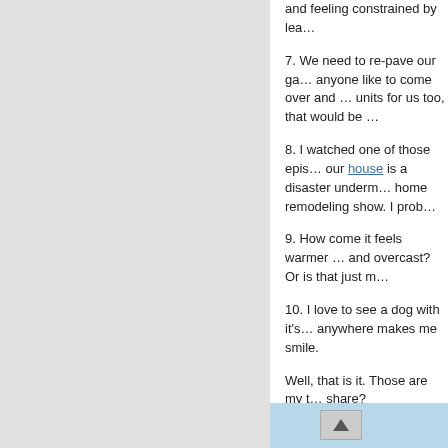and feeling constrained by lea…
7.  We need to re-pave our ga… anyone like to come over and … units for us too, that would be …
8.  I watched one of those epis… our house is a disaster underm… home remodeling show.  I prob…
9.  How come it feels warmer … and overcast?  Or is that just m…
10.  I love to see a dog with it's… anywhere makes me smile.
Well, that is it.  Those are my t… share?